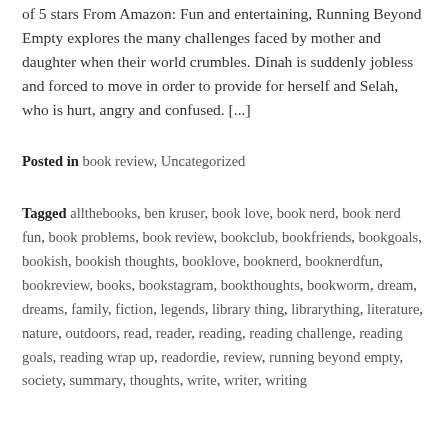of 5 stars From Amazon: Fun and entertaining, Running Beyond Empty explores the many challenges faced by mother and daughter when their world crumbles. Dinah is suddenly jobless and forced to move in order to provide for herself and Selah, who is hurt, angry and confused. [...]
Posted in book review, Uncategorized
Tagged allthebooks, ben kruser, book love, book nerd, book nerd fun, book problems, book review, bookclub, bookfriends, bookgoals, bookish, bookish thoughts, booklove, booknerd, booknerdfun, bookreview, books, bookstagram, bookthoughts, bookworm, dream, dreams, family, fiction, legends, library thing, librarything, literature, nature, outdoors, read, reader, reading, reading challenge, reading goals, reading wrap up, readordie, review, running beyond empty, society, summary, thoughts, write, writer, writing